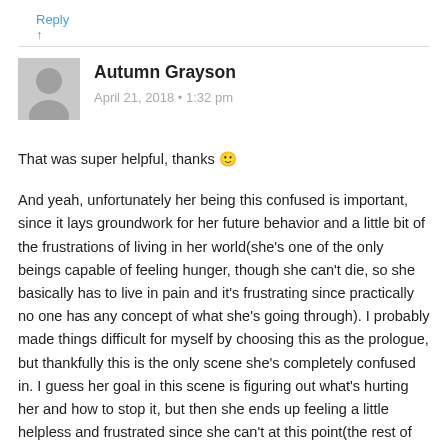Reply ↑
[Figure (illustration): Grey avatar silhouette of a person]
Autumn Grayson
April 21, 2018 • 1:32 pm
That was super helpful, thanks 🙂
And yeah, unfortunately her being this confused is important, since it lays groundwork for her future behavior and a little bit of the frustrations of living in her world(she's one of the only beings capable of feeling hunger, though she can't die, so she basically has to live in pain and it's frustrating since practically no one has any concept of what she's going through). I probably made things difficult for myself by choosing this as the prologue, but thankfully this is the only scene she's completely confused in. I guess her goal in this scene is figuring out what's hurting her and how to stop it, but then she ends up feeling a little helpless and frustrated since she can't at this point(the rest of the story revolves around what she does when she finds a way to alleviate her hunger and how the other characters react.)
Another thing to note is that in this world, characters are not